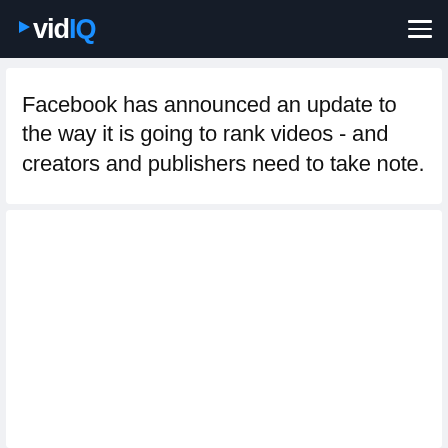vidIQ
Facebook has announced an update to the way it is going to rank videos - and creators and publishers need to take note.
[Figure (other): Empty white content card area below the text block]